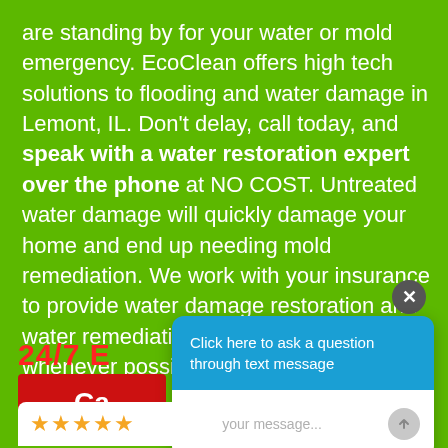are standing by for your water or mold emergency. EcoClean offers high tech solutions to flooding and water damage in Lemont, IL. Don't delay, call today, and speak with a water restoration expert over the phone at NO COST. Untreated water damage will quickly damage your home and end up needing mold remediation. We work with your insurance to provide water damage restoration and water remediation to you free of cost whenever possible.
24/7 E...
[Figure (screenshot): Chat widget overlay with blue header 'Click here to ask a question through text message' and white input area with placeholder 'Write your message...' and send button]
[Figure (screenshot): Close (X) button circle overlay on green background]
[Figure (screenshot): Five gold star rating widget partially visible at bottom left]